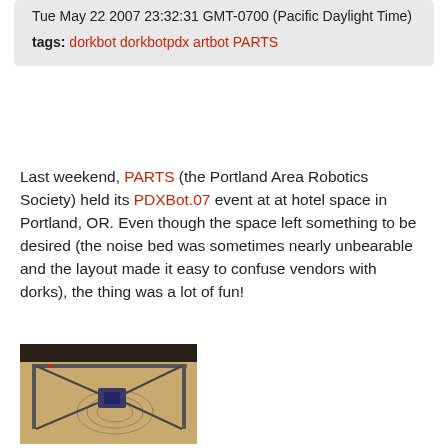Tue May 22 2007 23:32:31 GMT-0700 (Pacific Daylight Time)
tags: dorkbot dorkbotpdx artbot PARTS
Last weekend, PARTS (the Portland Area Robotics Society) held its PDXBot.07 event at at hotel space in Portland, OR. Even though the space left something to be desired (the noise bed was sometimes nearly unbearable and the layout made it easy to confuse vendors with dorks), the thing was a lot of fun!
[Figure (photo): Photo of an artbot drawing machine on a table, showing a mechanical drawing device with metal rods/rails making circular patterns on paper]